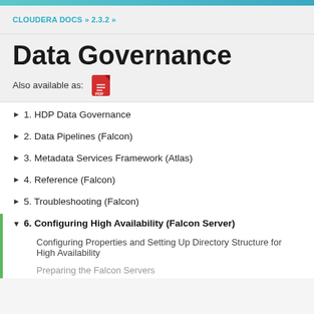CLOUDERA DOCS » 2.3.2 »
Data Governance
Also available as: [PDF icon]
1. HDP Data Governance
2. Data Pipelines (Falcon)
3. Metadata Services Framework (Atlas)
4. Reference (Falcon)
5. Troubleshooting (Falcon)
6. Configuring High Availability (Falcon Server)
Configuring Properties and Setting Up Directory Structure for High Availability
Preparing the Falcon Servers